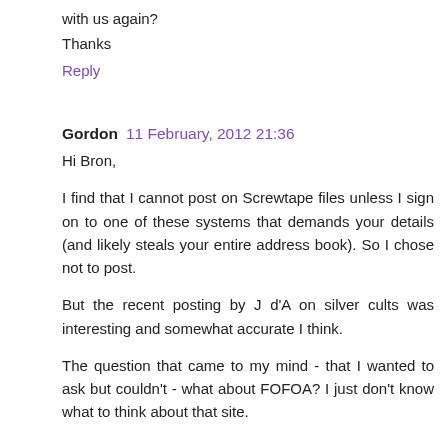with us again?
Thanks
Reply
Gordon  11 February, 2012 21:36
Hi Bron,
I find that I cannot post on Screwtape files unless I sign on to one of these systems that demands your details (and likely steals your entire address book). So I chose not to post.
But the recent posting by J d'A on silver cults was interesting and somewhat accurate I think.
The question that came to my mind - that I wanted to ask but couldn't - what about FOFOA? I just don't know what to think about that site.